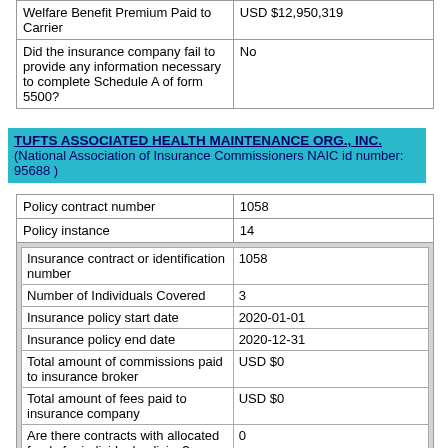| Field | Value |
| --- | --- |
| Welfare Benefit Premium Paid to Carrier | USD $12,950,319 |
| Did the insurance company fail to provide any information necessary to complete Schedule A of form 5500? | No |
TUFTS ASSOCIATED HEALTH MAINTENANCE ORG., INC. (National Association of Insurance Commissioners NAIC id number: 95688 )
| Field | Value |
| --- | --- |
| Policy contract number | 1058 |
| Policy instance | 14 |
| Insurance contract or identification number | 1058 |
| Number of Individuals Covered | 3 |
| Insurance policy start date | 2020-01-01 |
| Insurance policy end date | 2020-12-31 |
| Total amount of commissions paid to insurance broker | USD $0 |
| Total amount of fees paid to insurance company | USD $0 |
| Are there contracts with allocated funds for individual policies? | 0 |
| Are there contracts with allocated funds for group deferred annuity? | No |
| Are there contracts with allocated funds for types other than individual or group deferred annuity? | No |